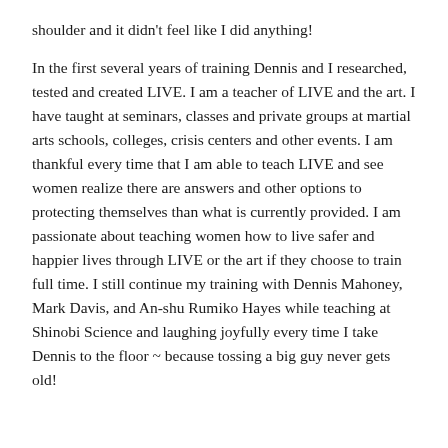shoulder and it didn't feel like I did anything!
In the first several years of training Dennis and I researched, tested and created LIVE. I am a teacher of LIVE and the art. I have taught at seminars, classes and private groups at martial arts schools, colleges, crisis centers and other events. I am thankful every time that I am able to teach LIVE and see women realize there are answers and other options to protecting themselves than what is currently provided. I am passionate about teaching women how to live safer and happier lives through LIVE or the art if they choose to train full time. I still continue my training with Dennis Mahoney, Mark Davis, and An-shu Rumiko Hayes while teaching at Shinobi Science and laughing joyfully every time I take Dennis to the floor ~ because tossing a big guy never gets old!